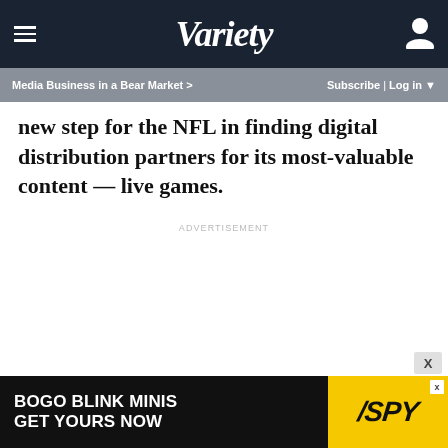VARIETY
Media Business in a Bear Market > Subscribe | Log in
new step for the NFL in finding digital distribution partners for its most-valuable content — live games.
ADVERTISEMENT
[Figure (other): BOGO BLINK MINIS GET YOURS NOW - SPY advertisement banner at bottom of page]